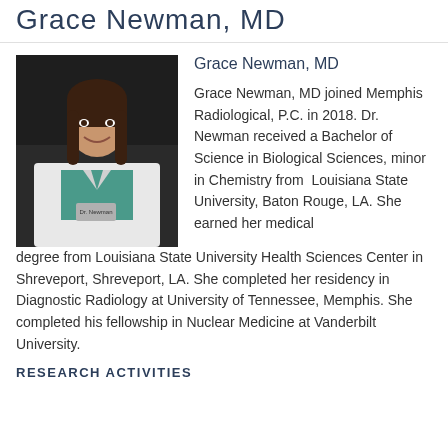Grace Newman, MD
[Figure (photo): Professional headshot of Grace Newman, MD in a white lab coat over a teal top, dark background]
Grace Newman, MD
Grace Newman, MD joined Memphis Radiological, P.C. in 2018. Dr. Newman received a Bachelor of Science in Biological Sciences, minor in Chemistry from Louisiana State University, Baton Rouge, LA. She earned her medical degree from Louisiana State University Health Sciences Center in Shreveport, Shreveport, LA. She completed her residency in Diagnostic Radiology at University of Tennessee, Memphis. She completed his fellowship in Nuclear Medicine at Vanderbilt University.
RESEARCH ACTIVITIES